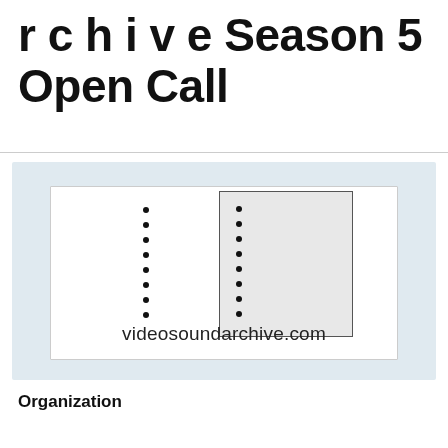rchive Season 5 Open Call
[Figure (logo): Video Sound Archive logo with two columns of dots and a grey rectangle, with text 'videosoundarchive.com']
Organization